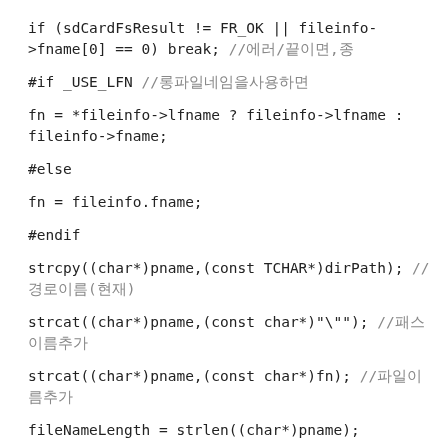if (sdCardFsResult != FR_OK || fileinfo->fname[0] == 0) break; //에러/끝이면,종
#if _USE_LFN //롱파일네임을사용하면
fn = *fileinfo->lfname ? fileinfo->lfname : fileinfo->fname;
#else
fn = fileinfo.fname;
#endif
strcpy((char*)pname,(const TCHAR*)dirPath); //경로이름(현재)
strcat((char*)pname,(const char*)"\"); //패스이름추가
strcat((char*)pname,(const char*)fn); //파일이름추가
fileNameLength = strlen((char*)pname);